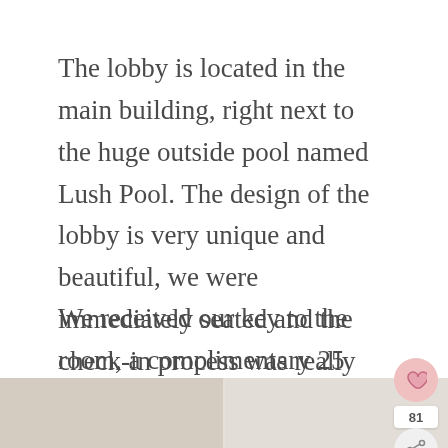The lobby is located in the main building, right next to the huge outside pool named Lush Pool. The design of the lobby is very unique and beautiful, we were immediately seated and the check-in process was really fast.
We received our key to the room, a complimentary 25 minutes massage coupon, and 2 tickets to a sunset cruise on the Mekong river.
[Figure (photo): Partial photo strip at the bottom of the page showing two hotel room images side by side]